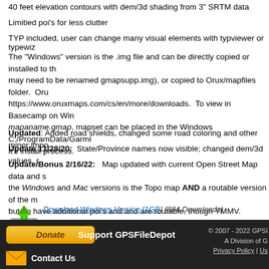40 feet elevation contours with dem/3d shading from 3" SRTM data
Limitied poi's for less clutter
TYP included, user can change many visual elements with typviewer or typewiz
The "Windows" version is the .img file and can be directly copied or installed to the device (may need to be renamed gmapsupp.img), or copied to Orux/mapfiles folder. Orux: https://www.oruxmaps.com/cs/en/more/downloads. To view in Basecamp on Windows, in a mapaname.gmap, mapset can be placed in the Windows C:/ProgramData/Garmin during it's install process.
Updated: Added road shields, changed some road coloring and other minor improvements.
Update 11/28/20:  State/Province names now visible; changed dem/3d values, r...
Update/Bonus 2/16/22:   Map updated with current Open Street Map data and s... the Windows and Mac versions is the Topo map AND a routable version of the m... but do have additional poi's and and are routable, though YMMV.
[Figure (other): Download disk icon with green arrow]
Download Windows Version [1GB] (884 Downloads)
Download Mac Version [1GB] (633 Downloads)
Donate  Support GPSFileDepot  © 2007 - 2022 GPSI  A Division of G  Privacy Policy | Us...  Contact Us